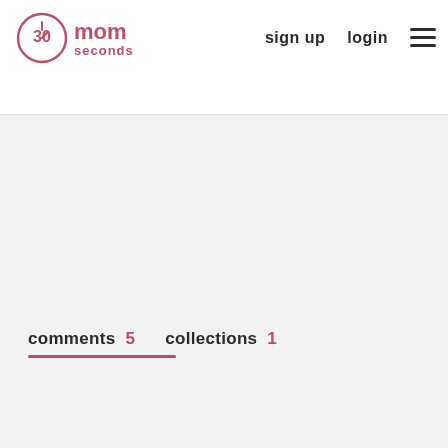30 seconds mom — sign up  login
comments 5   collections 1